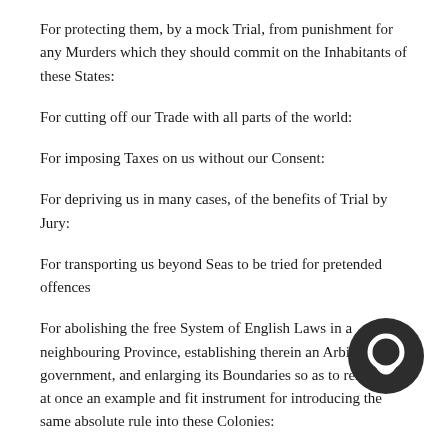For protecting them, by a mock Trial, from punishment for any Murders which they should commit on the Inhabitants of these States:
For cutting off our Trade with all parts of the world:
For imposing Taxes on us without our Consent:
For depriving us in many cases, of the benefits of Trial by Jury:
For transporting us beyond Seas to be tried for pretended offences
For abolishing the free System of English Laws in a neighbouring Province, establishing therein an Arbitrary government, and enlarging its Boundaries so as to render it at once an example and fit instrument for introducing the same absolute rule into these Colonies:
For taking away our Charters, abolishing our most valuable Laws, and altering fundamentally the Forms of our